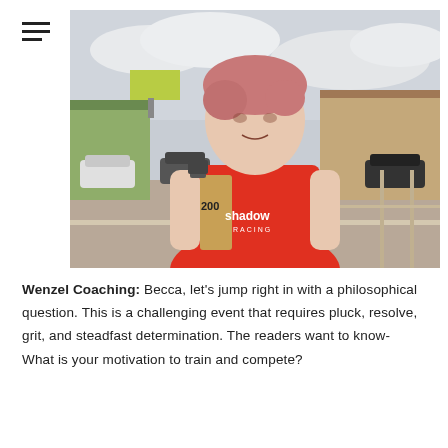[Figure (photo): Woman with short pink/red hair wearing a red 'shadow RACING' tank top, holding a wooden award trophy with '200' written on it, standing on a balcony with a parking lot and motel in background.]
Wenzel Coaching: Becca, let's jump right in with a philosophical question. This is a challenging event that requires pluck, resolve, grit, and steadfast determination. The readers want to know-
What is your motivation to train and compete?